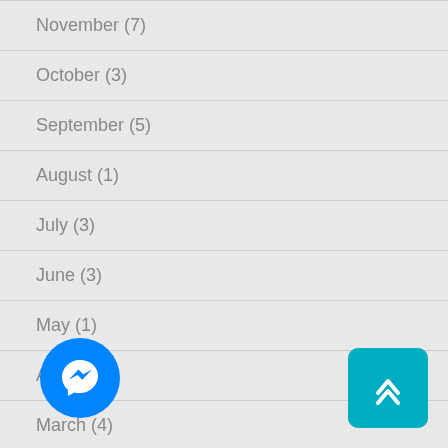November (7)
October (3)
September (5)
August (1)
July (3)
June (3)
May (1)
April (4)
March (4)
February (3)
January (2)
2015 (42)